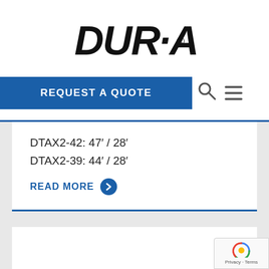[Figure (logo): Dur-A-Lift logo in bold italic black text with registered trademark symbol]
REQUEST A QUOTE
DTAX2-42: 47' / 28'
DTAX2-39: 44' / 28'
READ MORE
[Figure (photo): Dur-A-Lift aerial lift truck product photo on gray background]